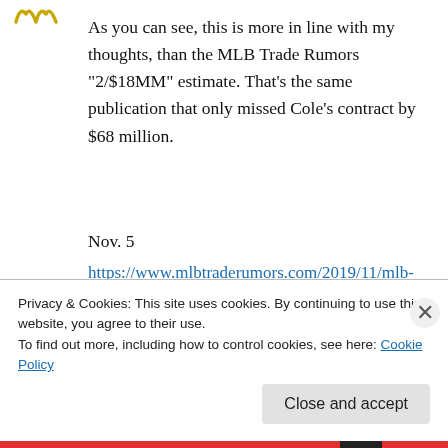[Figure (logo): Small decorative logo/icon in top left, yellowish-green stylized W or wings shape]
As you can see, this is more in line with my thoughts, than the MLB Trade Rumors “2/$18MM” estimate. That’s the same publication that only missed Cole’s contract by $68 million.
Nov. 5
https://www.mlbtraderumors.com/2019/11/mlb-free-agent-predictions-2020.html
Jan. 2
“Feinsand indicates Harris is mulling multiple
Privacy & Cookies: This site uses cookies. By continuing to use this website, you agree to their use.
To find out more, including how to control cookies, see here: Cookie Policy
Close and accept